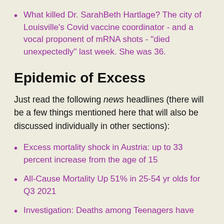What killed Dr. SarahBeth Hartlage? The city of Louisville's Covid vaccine coordinator - and a vocal proponent of mRNA shots - "died unexpectedly" last week. She was 36.
Epidemic of Excess
Just read the following news headlines (there will be a few things mentioned here that will also be discussed individually in other sections):
Excess mortality shock in Austria: up to 33 percent increase from the age of 15
All-Cause Mortality Up 51% in 25-54 yr olds for Q3 2021
Investigation: Deaths among Teenagers have